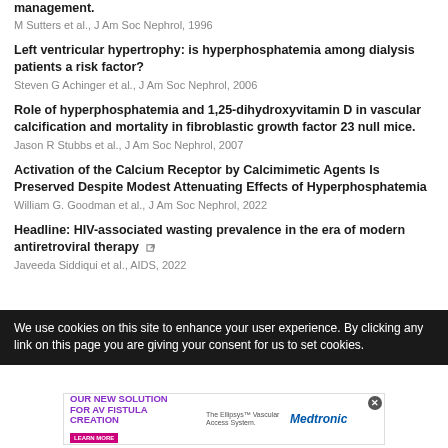management.
M Sutters et al., J Am Soc Nephrol, 1996
Left ventricular hypertrophy: is hyperphosphatemia among dialysis patients a risk factor?
Steven G Achinger et al., J Am Soc Nephrol, 2006
Role of hyperphosphatemia and 1,25-dihydroxyvitamin D in vascular calcification and mortality in fibroblastic growth factor 23 null mice.
Jason R Stubbs et al., J Am Soc Nephrol, 2007
Activation of the Calcium Receptor by Calcimimetic Agents Is Preserved Despite Modest Attenuating Effects of Hyperphosphatemia
William G. Goodman et al., J Am Soc Nephrol, 2022
Headline: HIV-associated wasting prevalence in the era of modern antiretroviral therapy
Javeeda Siddiqui et al., AIDS, 2022
We use cookies on this site to enhance your user experience. By clicking any link on this page you are giving your consent for us to set cookies.
[Figure (infographic): Medtronic advertisement for AV Fistula Creation solution - Ellipsys Vascular Access System with Learn More button]